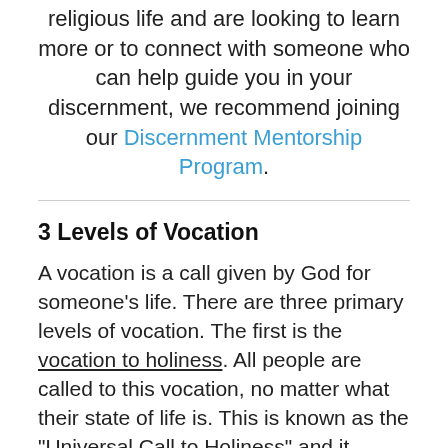religious life and are looking to learn more or to connect with someone who can help guide you in your discernment, we recommend joining our Discernment Mentorship Program.
3 Levels of Vocation
A vocation is a call given by God for someone's life. There are three primary levels of vocation. The first is the vocation to holiness. All people are called to this vocation, no matter what their state of life is. This is known as the "Universal Call to Holiness" and it means God has a plan for your life that will ultimately lead you closer to Him.